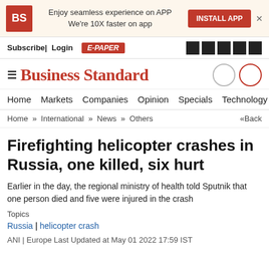[Figure (screenshot): Business Standard website header ad banner with BS logo, 'Enjoy seamless experience on APP / We're 10X faster on app' text, Install App button, and close X]
Subscribe| Login   E-PAPER
Business Standard
Home   Markets   Companies   Opinion   Specials   Technology   PF   Po
Home » International » News » Others   «Back
Firefighting helicopter crashes in Russia, one killed, six hurt
Earlier in the day, the regional ministry of health told Sputnik that one person died and five were injured in the crash
Topics
Russia | helicopter crash
ANI | Europe Last Updated at May 01 2022 17:59 IST